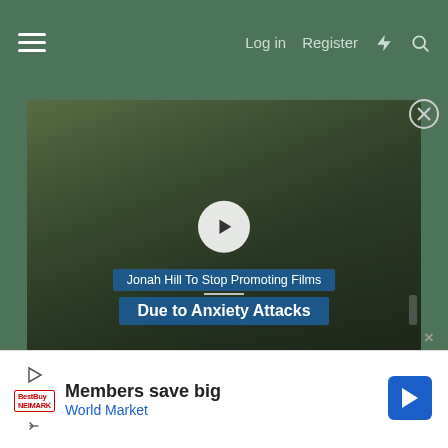Log in  Register
[Figure (screenshot): Video thumbnail showing a man in a suit at what appears to be a red carpet event, with overlay text 'Jonah Hill To Stop Promoting Films Due to Anxiety Attacks' and a play button in the center.]
[Figure (infographic): Advertisement banner: 'Members save big World Market' with play icon, brand logo, and blue arrow navigation icon.]